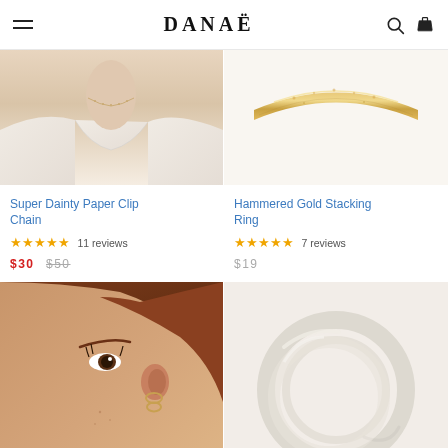DANAË
[Figure (photo): Woman wearing a delicate necklace, white v-neck top, close-up of neck and chest area]
[Figure (photo): Hammered gold stacking ring product photo on white background]
Super Dainty Paper Clip Chain
★★★★★ 11 reviews
$30  $50
Hammered Gold Stacking Ring
★★★★★ 7 reviews
$19
[Figure (photo): Woman wearing small gold hoop earrings, side profile view]
[Figure (photo): White/cream colored bracelet or jewelry piece on white background]